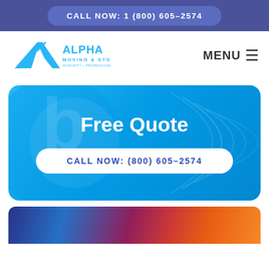CALL NOW: 1 (800) 605-2574
[Figure (logo): Alpha Moving & Storage logo with stylized A letterform in light blue]
MENU ≡
Free Quote
CALL NOW: (800) 605-2574
[Figure (photo): Photo of a mover in blue uniform handling striped red and gold fabric or curtains]